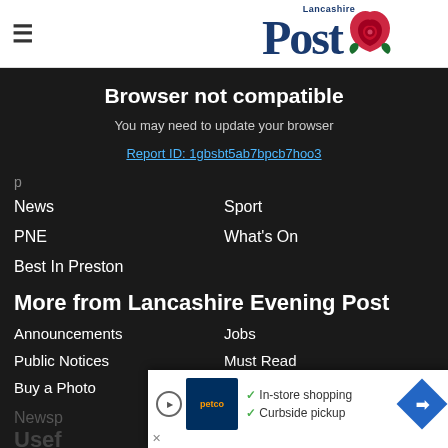Lancashire Post
Browser not compatible
You may need to update your browser
Report ID: 1gbsbt5ab7bpcb7hoo3
News
Sport
PNE
What's On
Best In Preston
More from Lancashire Evening Post
Announcements
Jobs
Public Notices
Must Read
Buy a Photo
Directory
Newsp
Usef
In-store shopping
Curbside pickup